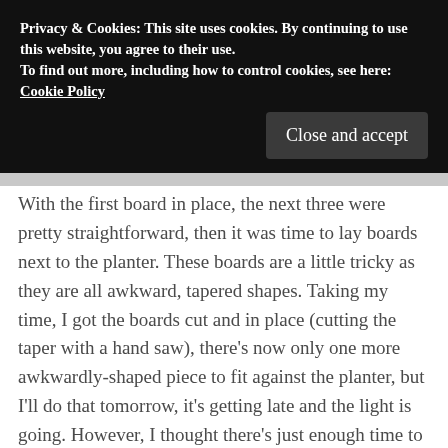Privacy & Cookies: This site uses cookies. By continuing to use this website, you agree to their use.
To find out more, including how to control cookies, see here: Cookie Policy
Close and accept
With the first board in place, the next three were pretty straightforward, then it was time to lay boards next to the planter. These boards are a little tricky as they are all awkward, tapered shapes. Taking my time, I got the boards cut and in place (cutting the taper with a hand saw), there's now only one more awkwardly-shaped piece to fit against the planter, but I'll do that tomorrow, it's getting late and the light is going. However, I thought there's just enough time to start decking the boardwalk. To create another datum line, I mitred another piece of edge strip and fixed it in position on the boardwalk timbers. I checked which board offcuts I could use for the